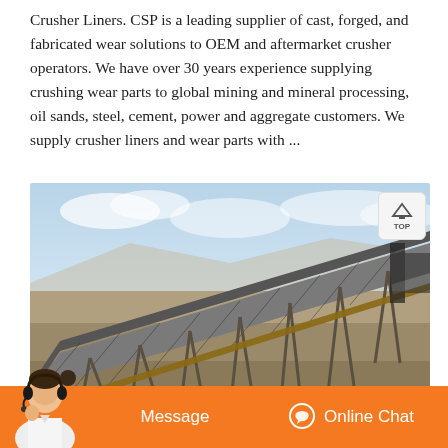Crusher Liners. CSP is a leading supplier of cast, forged, and fabricated wear solutions to OEM and aftermarket crusher operators. We have over 30 years experience supplying crushing wear parts to global mining and mineral processing, oil sands, steel, cement, power and aggregate customers. We supply crusher liners and wear parts with ...
[Figure (photo): Industrial conveyor belt system at a mining or aggregate site, showing a large inclined steel conveyor structure with belt, set against a dusty outdoor landscape with mountains/hills and cloudy sky in background.]
Message
Online Chat